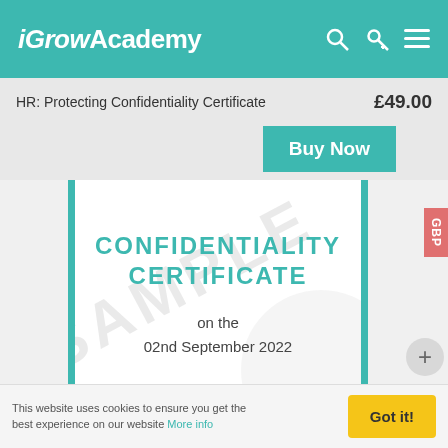iGrowAcademy
HR: Protecting Confidentiality Certificate
£49.00
Buy Now
[Figure (screenshot): Sample certificate preview showing CONFIDENTIALITY CERTIFICATE text in teal, with date 02nd September 2022, and a SAMPLE watermark. Teal vertical borders on left and right. GBP badge on right side.]
GBP
This website uses cookies to ensure you get the best experience on our website More info
Got it!